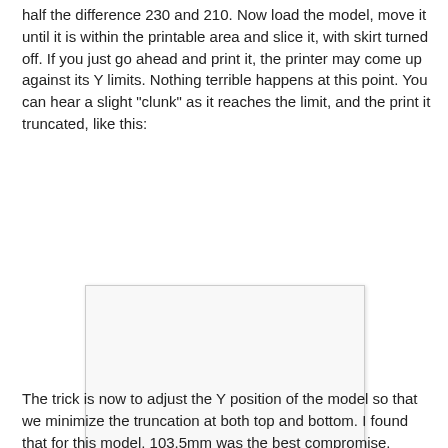half the difference 230 and 210. Now load the model, move it until it is within the printable area and slice it, with skirt turned off. If you just go ahead and print it, the printer may come up against its Y limits. Nothing terrible happens at this point. You can hear a slight "clunk" as it reaches the limit, and the print it truncated, like this:
[Figure (photo): A blank white/light gray rectangle representing a truncated print output, with a thin light gray border and subtle shadow.]
The trick is now to adjust the Y position of the model so that we minimize the truncation at both top and bottom. I found that for this model, 103.5mm was the best compromise.